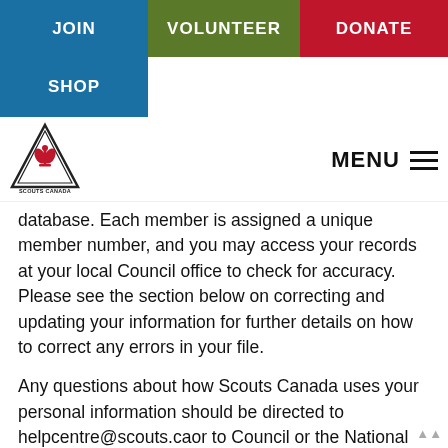JOIN | VOLUNTEER | DONATE | SHOP
[Figure (logo): Scouts Canada triangle logo with fleur-de-lis and text 'SCOUTS CANADA']
MENU
database.  Each member is assigned a unique member number, and you may access your records at your local Council office to check for accuracy. Please see the section below on correcting and updating your information for further details on how to correct any errors in your file.
Any questions about how Scouts Canada uses your personal information should be directed to helpcentre@scouts.caor to Council or the National offices.